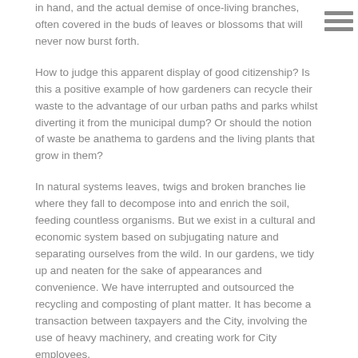in hand, and the actual demise of once-living branches, often covered in the buds of leaves or blossoms that will never now burst forth.
How to judge this apparent display of good citizenship? Is this a positive example of how gardeners can recycle their waste to the advantage of our urban paths and parks whilst diverting it from the municipal dump? Or should the notion of waste be anathema to gardens and the living plants that grow in them?
In natural systems leaves, twigs and broken branches lie where they fall to decompose into and enrich the soil, feeding countless organisms. But we exist in a cultural and economic system based on subjugating nature and separating ourselves from the wild. In our gardens, we tidy up and neaten for the sake of appearances and convenience. We have interrupted and outsourced the recycling and composting of plant matter. It has become a transaction between taxpayers and the City, involving the use of heavy machinery, and creating work for City employees.